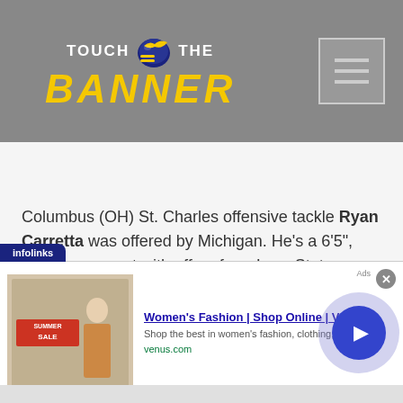[Figure (logo): Touch the Banner website logo with Michigan Wolverines football helmet, yellow 'BANNER' text and white 'TOUCH THE' text on gray background header, with hamburger menu icon on the right]
Columbus (OH) St. Charles offensive tackle Ryan Carretta was offered by Michigan. He's a 6'5", 310 lb. prospect with offers from Iowa State, Kentucky
[Figure (screenshot): Advertisement overlay from infolinks: Women's Fashion | Shop Online | VENUS - Shop the best in women's fashion, clothing, swimwear - venus.com, with a play button and close button]